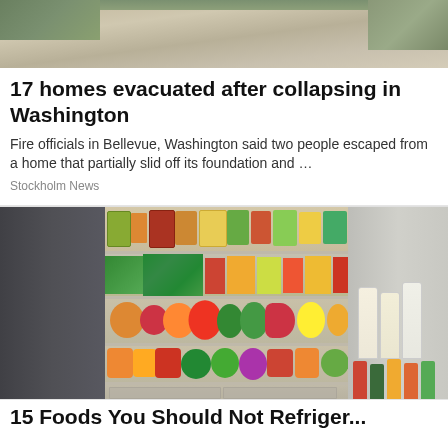[Figure (photo): Aerial or ground view of a collapsed/damaged home with debris and soil, partially visible at the top of the page]
17 homes evacuated after collapsing in Washington
Fire officials in Bellevue, Washington said two people escaped from a home that partially slid off its foundation and …
Stockholm News
[Figure (photo): Open refrigerator fully stocked with fresh fruits, vegetables, jars, bottles of milk, and condiments on multiple shelves — showing a well-organized, abundant fridge interior]
15 Foods You Should Not Refrigerate...